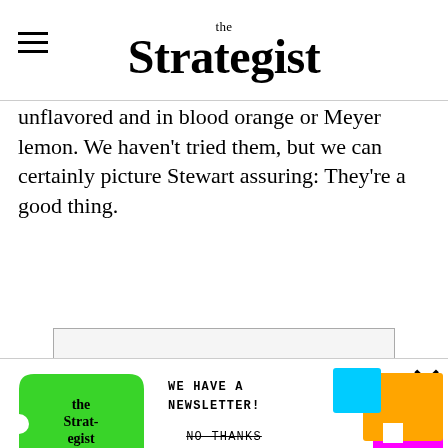the Strategist
unflavored and in blood orange or Meyer lemon. We haven't tried them, but we can certainly picture Stewart assuring: They're a good thing.
[Figure (infographic): Newsletter signup popup for The Strategist with green price-tag logo, colorful decorative shapes (magenta, green, orange, cyan), headline 'Join our list for newsletter-only discounts on editor favorites', subtext 'Plus actually good sales, expert picks, and excellent gift ideas', email input field, SIGN ME UP button, and NO THANKS strikethrough link. Close X in top right.]